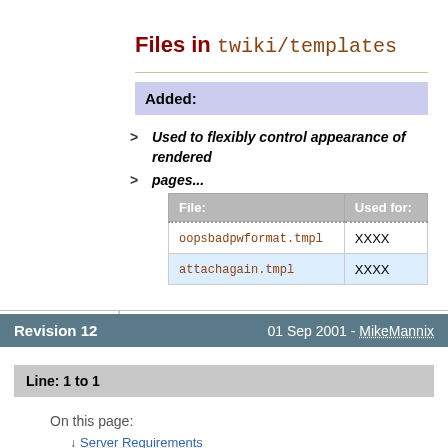Files in twiki/templates
Added:
> Used to flexibly control appearance of rendered pages...
| File: | Used for: |
| --- | --- |
| oopsbadpwformat.tmpl | XXXX |
| attachagain.tmpl | XXXX |
Revision 12    01 Sep 2001 - MikeMannix
Line: 1 to 1
On this page:
↓ Server Requirements
↓ Required CPAN Modules
↓ Optional CPAN Modules